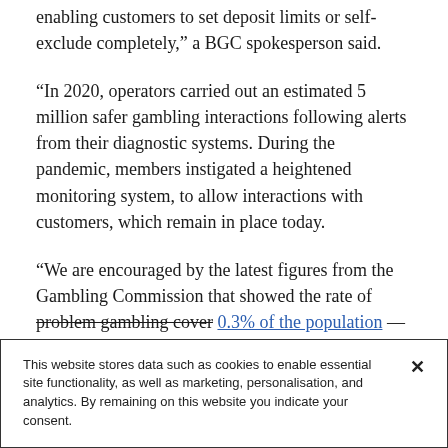enabling customers to set deposit limits or self-exclude completely,” a BGC spokesperson said.
“In 2020, operators carried out an estimated 5 million safer gambling interactions following alerts from their diagnostic systems. During the pandemic, members instigated a heightened monitoring system, to allow interactions with customers, which remain in place today.
“We are encouraged by the latest figures from the Gambling Commission that showed the rate of problem gambling cover 0.3% of the population — down
This website stores data such as cookies to enable essential site functionality, as well as marketing, personalisation, and analytics. By remaining on this website you indicate your consent.